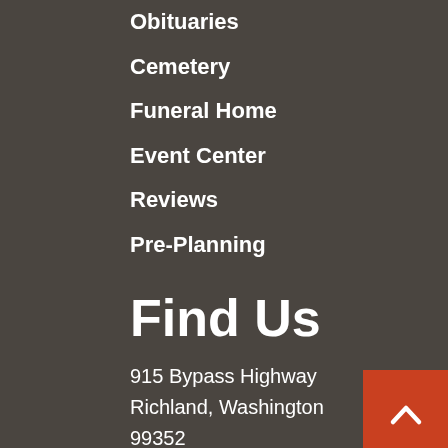Obituaries
Cemetery
Funeral Home
Event Center
Reviews
Pre-Planning
Find Us
915 Bypass Highway
Richland, Washington
99352
info@einansatsunset.com
(509) 943-1114 Phone
(509) 946-5672 F...